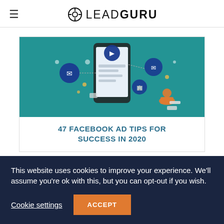LEADGURU
[Figure (illustration): Article banner image for '47 Facebook Ad Tips for Success in 2020' showing a smartphone with social media icons and a person working on a laptop, teal background]
47 FACEBOOK AD TIPS FOR SUCCESS IN 2020
APRIL 6, 2020
This website uses cookies to improve your experience. We'll assume you're ok with this, but you can opt-out if you wish.
Cookie settings  ACCEPT